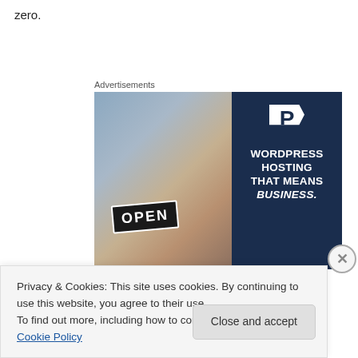zero.
Advertisements
[Figure (photo): Advertisement for WordPress hosting showing a woman holding an OPEN sign on the left (photo) and dark navy background on the right with a P logo and text: WORDPRESS HOSTING THAT MEANS BUSINESS.]
Privacy & Cookies: This site uses cookies. By continuing to use this website, you agree to their use.
To find out more, including how to control cookies, see here: Cookie Policy